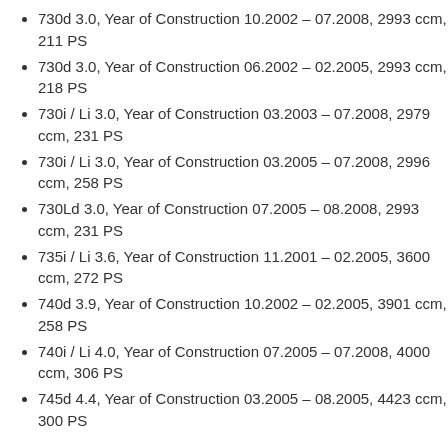730d 3.0, Year of Construction 10.2002 – 07.2008, 2993 ccm, 211 PS
730d 3.0, Year of Construction 06.2002 – 02.2005, 2993 ccm, 218 PS
730i / Li 3.0, Year of Construction 03.2003 – 07.2008, 2979 ccm, 231 PS
730i / Li 3.0, Year of Construction 03.2005 – 07.2008, 2996 ccm, 258 PS
730Ld 3.0, Year of Construction 07.2005 – 08.2008, 2993 ccm, 231 PS
735i / Li 3.6, Year of Construction 11.2001 – 02.2005, 3600 ccm, 272 PS
740d 3.9, Year of Construction 10.2002 – 02.2005, 3901 ccm, 258 PS
740i / Li 4.0, Year of Construction 07.2005 – 07.2008, 4000 ccm, 306 PS
745d 4.4, Year of Construction 03.2005 – 08.2005, 4423 ccm, 300 PS